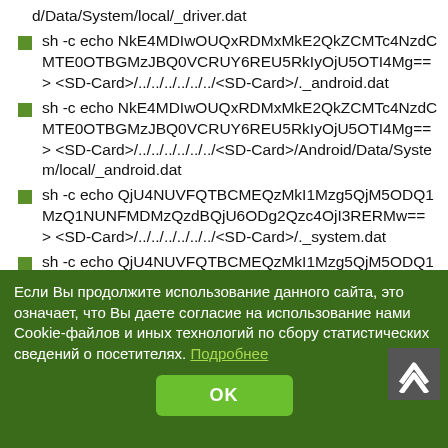d/Data/System/local/_driver.dat
sh -c echo NkE4MDIwOUQxRDMxMkE2QkZCMTc4NzdCMTE0OTBGMzJBQ0VCRUY6REU5RkIyOjU5OTI4Mg== > <SD-Card>/../../../../../../<SD-Card>/._android.dat
sh -c echo NkE4MDIwOUQxRDMxMkE2QkZCMTc4NzdCMTE0OTBGMzJBQ0VCRUY6REU5RkIyOjU5OTI4Mg== > <SD-Card>/../../../../../../<SD-Card>/Android/Data/System/local/_android.dat
sh -c echo QjU4NUVFQTBCMEQzMkI1Mzg5QjM5ODQ1MzQ1NUNFMDMzQzdBQjU6ODg2Qzc4OjI3RERMw== > <SD-Card>/../../../../../../<SD-Card>/._system.dat
sh -c echo QjU4NUVFQTBCMEQzMkI1Mzg5QjM5ODQ1MzQ1NUNFMDMzQzdBQjU6ODg2Qzc4OjI3RERMw== > <SD-Card>/../../../../../../<SD-Card>/Androi
Если Вы продолжите использование данного сайта, это означает, что Вы даете согласие на использование нами Cookie-файлов и иных технологий по сбору статистических сведений о посетителях. Подробнее
OK